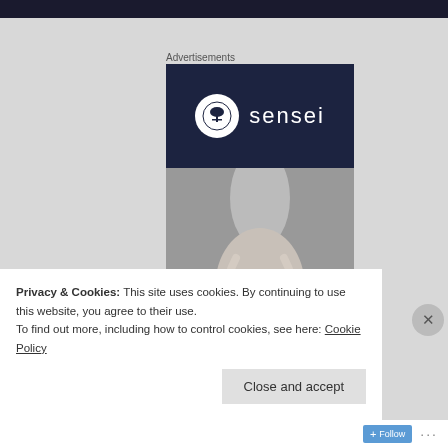Advertisements
[Figure (advertisement): Sensei brand advertisement with logo on dark navy background (top half) and black-and-white photo of ballet pointe shoes (bottom half)]
Privacy & Cookies: This site uses cookies. By continuing to use this website, you agree to their use.
To find out more, including how to control cookies, see here: Cookie Policy
Close and accept